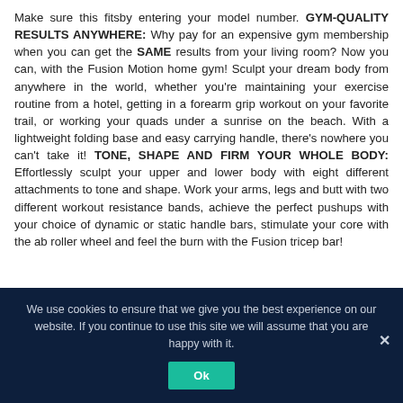Make sure this fitsby entering your model number. GYM-QUALITY RESULTS ANYWHERE: Why pay for an expensive gym membership when you can get the SAME results from your living room? Now you can, with the Fusion Motion home gym! Sculpt your dream body from anywhere in the world, whether you're maintaining your exercise routine from a hotel, getting in a forearm grip workout on your favorite trail, or working your quads under a sunrise on the beach. With a lightweight folding base and easy carrying handle, there's nowhere you can't take it! TONE, SHAPE AND FIRM YOUR WHOLE BODY: Effortlessly sculpt your upper and lower body with eight different attachments to tone and shape. Work your arms, legs and butt with two different workout resistance bands, achieve the perfect pushups with your choice of dynamic or static handle bars, stimulate your core with the ab roller wheel and feel the burn with the Fusion tricep bar!
We use cookies to ensure that we give you the best experience on our website. If you continue to use this site we will assume that you are happy with it.